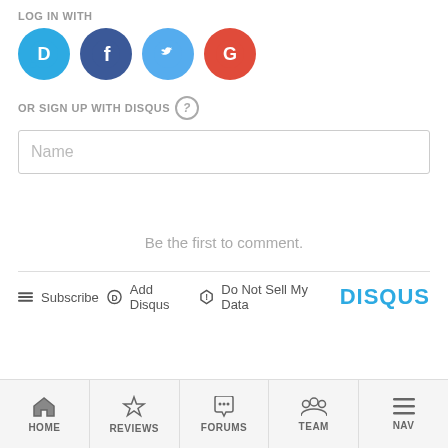LOG IN WITH
[Figure (illustration): Four social login icons: Disqus (blue circle with D), Facebook (dark blue circle with f), Twitter (light blue circle with bird), Google (red circle with G)]
OR SIGN UP WITH DISQUS ?
[Figure (screenshot): Name text input field with placeholder text 'Name']
Be the first to comment.
Subscribe  Add Disqus  Do Not Sell My Data  DISQUS
HOME  REVIEWS  FORUMS  TEAM  NAV